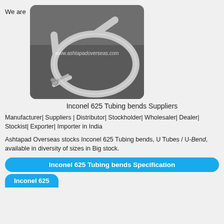We are
[Figure (photo): Photo of Inconel 625 tubing bends / U-tubes on a concrete floor, with watermark text www.ashtapadoverseas.com]
Inconel 625 Tubing bends Suppliers
Manufacturer| Suppliers | Distributor| Stockholder| Wholesaler| Dealer| Stockist| Exporter| Importer in India
Ashtapad Overseas stocks Inconel 625 Tubing bends, U Tubes / U-Bend, available in diversity of sizes in Big stock.
Inconel 625 Tubing bends Specification
Inconel 625